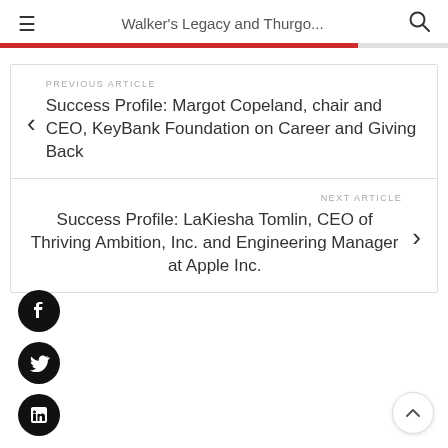Walker's Legacy and Thurgo...
PREVIOUS ARTICLE
Success Profile: Margot Copeland, chair and CEO, KeyBank Foundation on Career and Giving Back
NEXT ARTICLE
Success Profile: LaKiesha Tomlin, CEO of Thriving Ambition, Inc. and Engineering Manager at Apple Inc.
[Figure (other): Social media icons: Facebook, Twitter, LinkedIn (black circles with white icons)]
[Figure (other): Back to top button (chevron up, circular)]